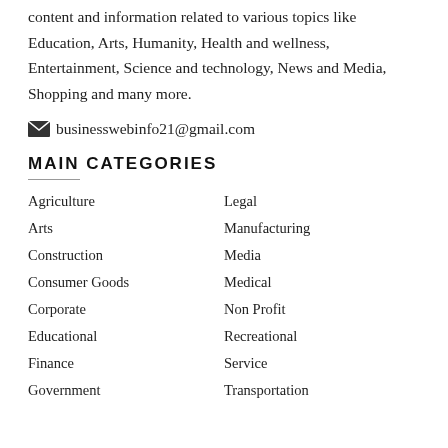content and information related to various topics like Education, Arts, Humanity, Health and wellness, Entertainment, Science and technology, News and Media, Shopping and many more.
businesswebinfo21@gmail.com
MAIN CATEGORIES
Agriculture
Legal
Arts
Manufacturing
Construction
Media
Consumer Goods
Medical
Corporate
Non Profit
Educational
Recreational
Finance
Service
Government
Transportation